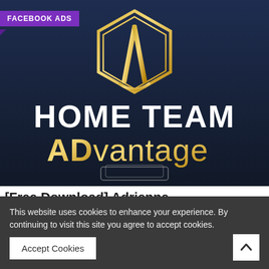[Figure (logo): Home Team ADvantage logo on dark navy blue background with golden hexagonal shield/letter A emblem above white and gold text reading 'HOME TEAM ADvantage']
[Free Download] Adrienne
This website uses cookies to enhance your experience. By continuing to visit this site you agree to accept cookies.